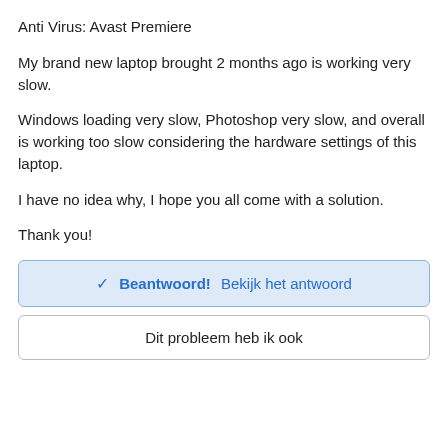Anti Virus: Avast Premiere
My brand new laptop brought 2 months ago is working very slow.
Windows loading very slow, Photoshop very slow, and overall is working too slow considering the hardware settings of this laptop.
I have no idea why, I hope you all come with a solution.
Thank you!
✓ Beantwoord! Bekijk het antwoord
Dit probleem heb ik ook